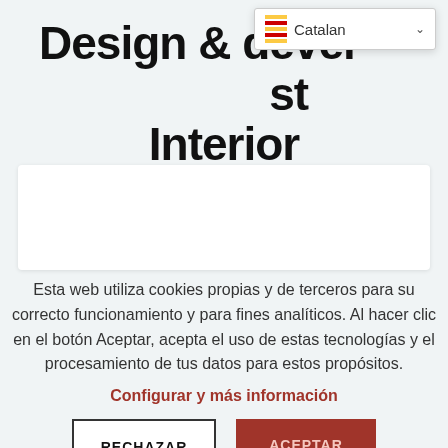Design & develop the best Interior
[Figure (screenshot): Language selector dropdown showing Catalan with flag icon and chevron]
[Figure (other): White content box placeholder area]
Esta web utiliza cookies propias y de terceros para su correcto funcionamiento y para fines analíticos. Al hacer clic en el botón Aceptar, acepta el uso de estas tecnologías y el procesamiento de tus datos para estos propósitos.
Configurar y más información
RECHAZAR
ACEPTAR